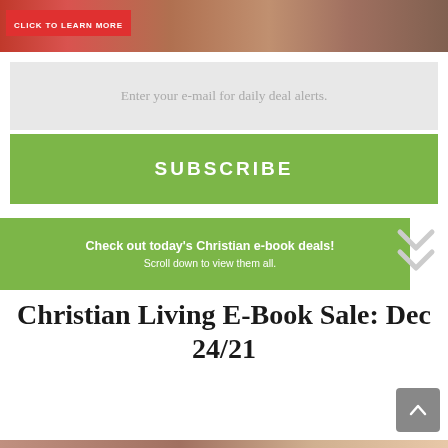[Figure (photo): Top banner image with red background and 'CLICK TO LEARN MORE' text, showing a photo of people in the background]
Enter your e-mail for daily deal alerts.
SUBSCRIBE
[Figure (infographic): Green ribbon banner with text 'Check out today's Christian e-book deals! Scroll down to view them all.' and double chevron arrow on right]
Christian Living E-Book Sale: Dec 24/21
[Figure (photo): Book promotion image with brown/warm background, white bordered rectangle overlay, text 'CHRISTIAN LIVING E-BOOK DEALS']